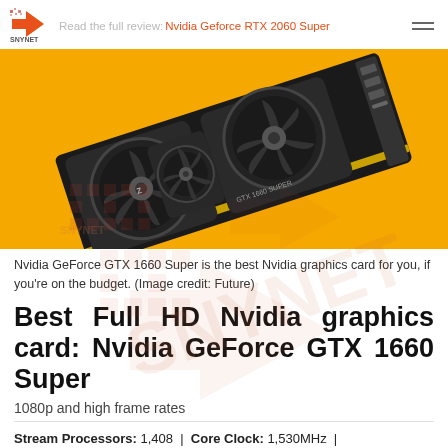Read the full review: Nvidia Geforce RTX 2060 Super
[Figure (photo): Nvidia GeForce GTX 1660 Super graphics card on a yellow background with SNYNET watermark]
Nvidia GeForce GTX 1660 Super is the best Nvidia graphics card for you, if you're on the budget. (Image credit: Future)
Best Full HD Nvidia graphics card: Nvidia GeForce GTX 1660 Super
1080p and high frame rates
Stream Processors: 1,408 | Core Clock: 1,530MHz | Memory: 6GB GDDR6 | Memory Speed: 14Gbps | Power